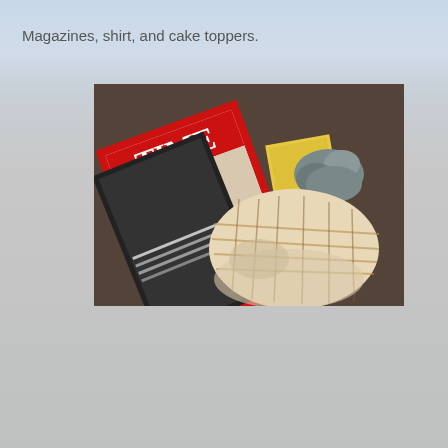Magazines, shirt, and cake toppers.
[Figure (photo): A photo on a dark brown carpet showing a TIME magazine (with red border and a baby on the cover), another magazine or box, gray clay/fondant cake toppers, and a crumpled plaid shirt laid out together.]